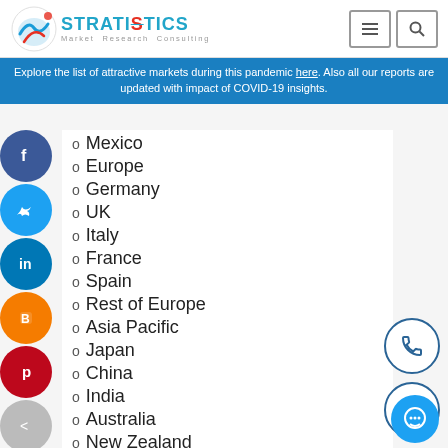Stratistics MRC - Market Research Consulting
Explore the list of attractive markets during this pandemic here. Also all our reports are updated with impact of COVID-19 insights.
Mexico
Europe
Germany
UK
Italy
France
Spain
Rest of Europe
Asia Pacific
Japan
China
India
Australia
New Zealand
South Korea